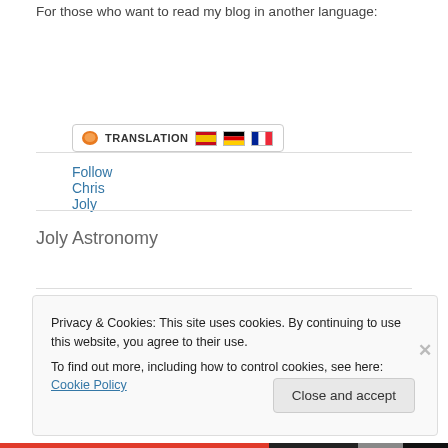For those who want to read my blog in another language:
[Figure (other): Translation button with Spanish, German, and French flags]
Follow Chris Joly
Joly Astronomy
Recent Posts
Privacy & Cookies: This site uses cookies. By continuing to use this website, you agree to their use.
To find out more, including how to control cookies, see here: Cookie Policy
Close and accept